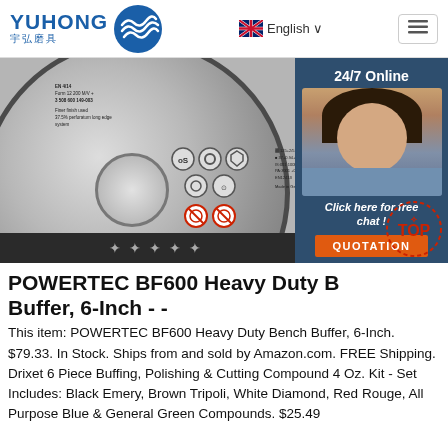YUHONG 宇弘磨具 | English
[Figure (photo): Close-up of a grinding/cutting disc with safety icons and certifications, with a customer service agent chat widget on the right showing '24/7 Online', 'Click here for free chat!', and 'QUOTATION' button]
POWERTEC BF600 Heavy Duty Bench Buffer, 6-Inch - -
This item: POWERTEC BF600 Heavy Duty Bench Buffer, 6-Inch. $79.33. In Stock. Ships from and sold by Amazon.com. FREE Shipping. Drixet 6 Piece Buffing, Polishing & Cutting Compound 4 Oz. Kit - Set Includes: Black Emery, Brown Tripoli, White Diamond, Red Rouge, All Purpose Blue & General Green Compounds. $25.49